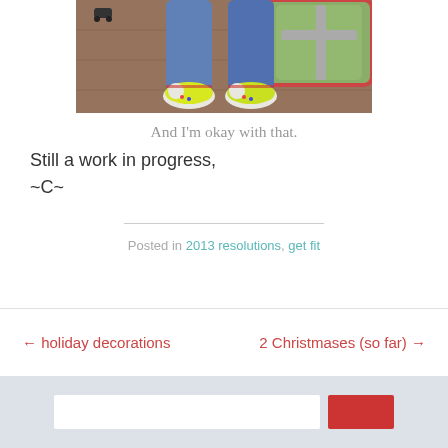[Figure (photo): Photo of a child's legs wearing jeans and colorful shoes, standing on a wood floor near a children's road map rug]
And I'm okay with that.
Still a work in progress,
~C~
Posted in 2013 resolutions, get fit
← holiday decorations    2 Christmases (so far) →